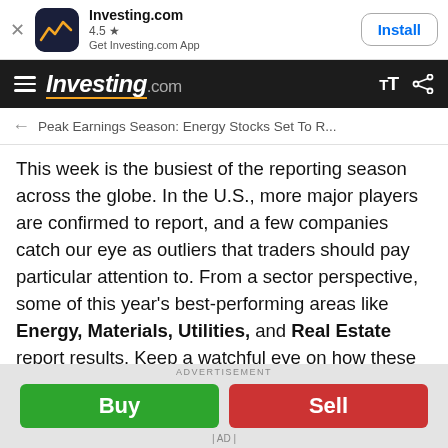[Figure (screenshot): App install banner for Investing.com mobile app with icon, rating 4.5 stars, and Install button]
Investing.com | hamburger menu | tT | share icon
← Peak Earnings Season: Energy Stocks Set To R...
This week is the busiest of the reporting season across the globe. In the U.S., more major players are confirmed to report, and a few companies catch our eye as outliers that traders should pay particular attention to. From a sector perspective, some of this year's best-performing areas like Energy, Materials, Utilities, and Real Estate report results. Keep a watchful eye on how these stocks react to earnings reports.
Who Stands Out: Rockwell & Starbucks
ADVERTISEMENT
Buy | Sell
| AD |